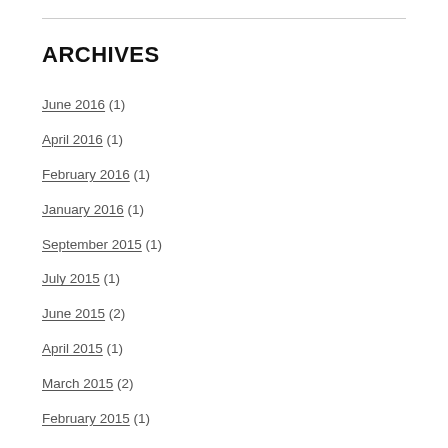ARCHIVES
June 2016 (1)
April 2016 (1)
February 2016 (1)
January 2016 (1)
September 2015 (1)
July 2015 (1)
June 2015 (2)
April 2015 (1)
March 2015 (2)
February 2015 (1)
January 2015 (2)